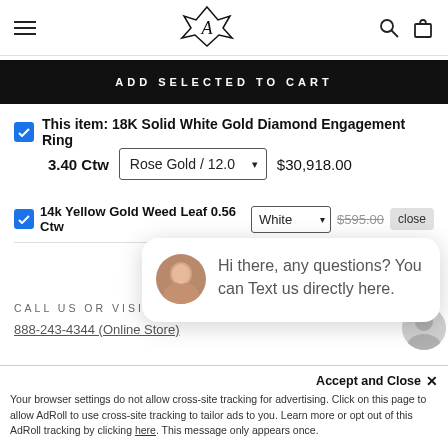Navigation bar with menu, logo, search and cart icons
ADD SELECTED TO CART
This item: 18K Solid White Gold Diamond Engagement Ring
3.40 Ctw   Rose Gold / 12.0   $30,918.00
14k Yellow Gold Weed Leaf 0.56 Ctw   White   $595.00   close
Hi there, any questions? You can Text us directly here.
CALL US OR VISIT US
888-243-4344 (Online Store)
Accept and Close ×
Your browser settings do not allow cross-site tracking for advertising. Click on this page to allow AdRoll to use cross-site tracking to tailor ads to you. Learn more or opt out of this AdRoll tracking by clicking here. This message only appears once.